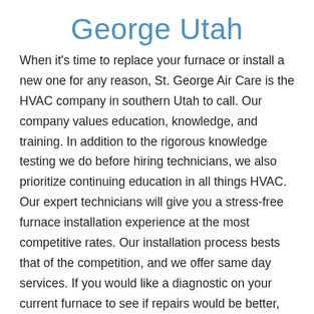George Utah
When it's time to replace your furnace or install a new one for any reason, St. George Air Care is the HVAC company in southern Utah to call. Our company values education, knowledge, and training. In addition to the rigorous knowledge testing we do before hiring technicians, we also prioritize continuing education in all things HVAC. Our expert technicians will give you a stress-free furnace installation experience at the most competitive rates. Our installation process bests that of the competition, and we offer same day services. If you would like a diagnostic on your current furnace to see if repairs would be better, we are happy to come over and take a look.